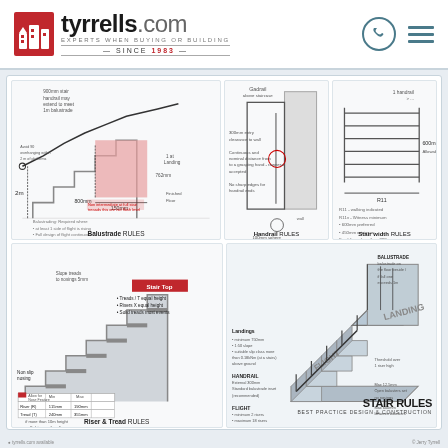[Figure (logo): Tyrrells.com logo with red building icon, 'EXPERTS WHEN BUYING OR BUILDING' tagline, SINCE 1983]
[Figure (engineering-diagram): Balustrade RULES diagram showing stair handrail, 2m height, 800mm, 150mm measurements, pink highlighted area, balustrade requirements]
[Figure (engineering-diagram): Handrail RULES diagram showing Gadrail, clearance to wall, continuous and minimal distance from wall, bar shape edges, 100mm sphere rule]
[Figure (engineering-diagram): Stair width RULES diagram showing 1 handrail, R11, 600mm min, guidelines for handrail traversal]
[Figure (engineering-diagram): Riser and Tread RULES diagram showing stair profile, non-slip nosing, Stair Start, Stair Top labels, table with Min/Max values: Riser 115mm/190mm, Tread 240mm/355mm, 1250mm sphere rule]
[Figure (engineering-diagram): STAIR RULES main diagram showing FLIGHT (minimum 2 risers, maximum 18 risers), LANDING, HANDRAIL external 300mm, balustrade, landings minimum 750mm, 1:50 slope, max 12mm open balusters, BEST PRACTICE Design & Construction]
tyrrells.com - Stair Rules Best Practice Design & Construction